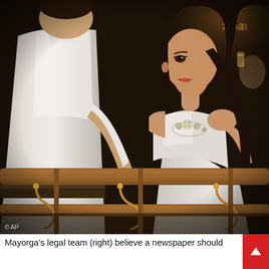[Figure (photo): A photograph showing two people in a nightclub setting. A man in a white shirt and a woman in a white strapless dress with a statement necklace are close together near a wooden railing with brass fixtures. The background is dark. AP photo credit appears in the bottom left corner.]
Mayorga's legal team (right) believe a newspaper should